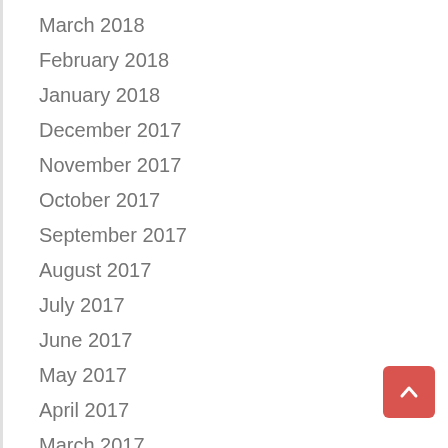March 2018
February 2018
January 2018
December 2017
November 2017
October 2017
September 2017
August 2017
July 2017
June 2017
May 2017
April 2017
March 2017
February 2017
January 2017
December 2016
November 2016
November 2015